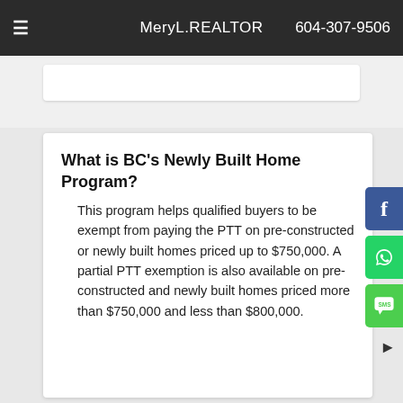MerylREALTOR  604-307-9506
What is BC's Newly Built Home Program?
This program helps qualified buyers to be exempt from paying the PTT on pre-constructed or newly built homes priced up to $750,000. A partial PTT exemption is also available on pre-constructed and newly built homes priced more than $750,000 and less than $800,000.